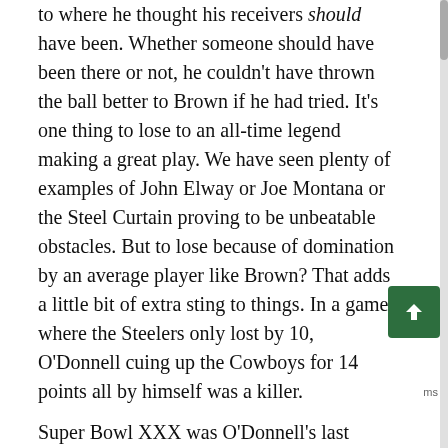to where he thought his receivers should have been. Whether someone should have been there or not, he couldn't have thrown the ball better to Brown if he had tried. It's one thing to lose to an all-time legend making a great play. We have seen plenty of examples of John Elway or Joe Montana or the Steel Curtain proving to be unbeatable obstacles. But to lose because of domination by an average player like Brown? That adds a little bit of extra sting to things. In a game where the Steelers only lost by 10, O'Donnell cuing up the Cowboys for 14 points all by himself was a killer.
Super Bowl XXX was O'Donnell's last game for the Steelers—they tried to re-sign him in free agency but didn't seem to be overly concerned when the Jets outbid them. First Mike Tomczak and then Kordell Stewart would get their chances, but neither could get the Steelers back to the Super Bowl. Tomczak threw a couple of interceptions and